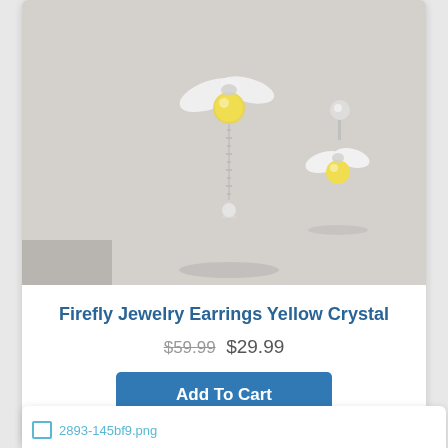[Figure (photo): Two silver bee/firefly jewelry earrings with yellow crystal bodies and white wing-shaped elements, one with a dangling chain and crystal drop, on a light gray background]
Firefly Jewelry Earrings Yellow Crystal
$59.99 $29.99
Add To Cart
[Figure (photo): Broken image placeholder showing filename: 2893-145bf9.png]